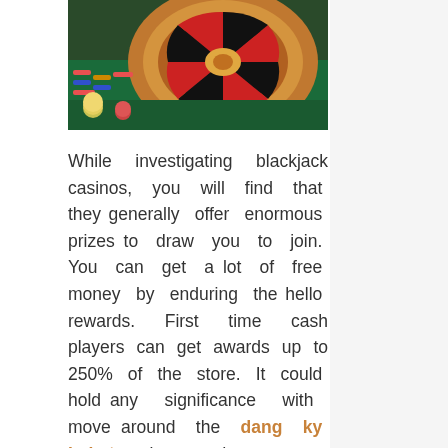[Figure (photo): Close-up photo of a casino roulette wheel with colorful chips on a green table]
While investigating blackjack casinos, you will find that they generally offer enormous prizes to draw you to join. You can get a lot of free money by enduring the hello rewards. First time cash players can get awards up to 250% of the store. It could hold any significance with move around the dang ky kubet casinos and assurance anything that prizes are on offer. A part of these prizes really do have requirements joined so make sure to examine the whole of the agreements. Next, you should